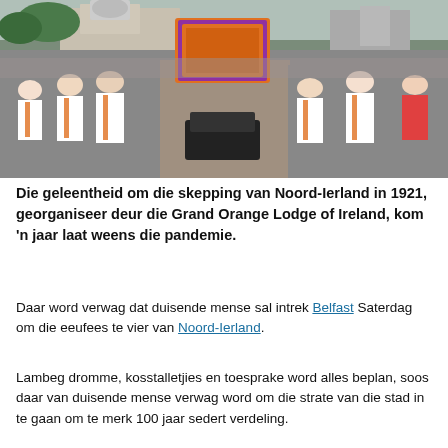[Figure (photo): A crowd of people watching an Orange Order parade through a city street. Men in white shirts with orange sashes carry a large decorated banner. A grand building is visible in the background.]
Die geleentheid om die skepping van Noord-Ierland in 1921, georganiseer deur die Grand Orange Lodge of Ireland, kom 'n jaar laat weens die pandemie.
Daar word verwag dat duisende mense sal intrek Belfast Saterdag om die eeufees te vier van Noord-Ierland.
Lambeg dromme, kosstalletjies en toesprake word alles beplan, soos daar van duisende mense verwag word om die strate van die stad in te gaan om te merk 100 jaar sedert verdeling.